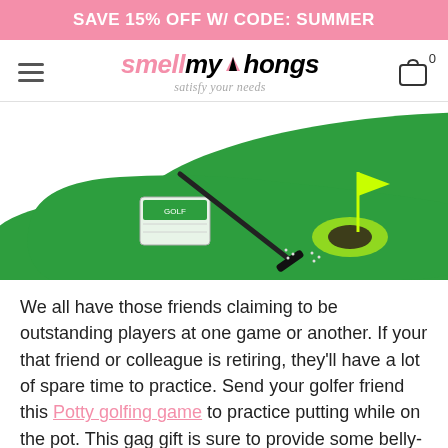SAVE 15% OFF W/ CODE: SUMMER
[Figure (logo): smellmythongs logo with tagline 'satisfy your needs']
[Figure (photo): A mini putting green (potty golf) set on a green mat with a putter, two golf balls, and a hole with flag]
We all have those friends claiming to be outstanding players at one game or another. If your that friend or colleague is retiring, they'll have a lot of spare time to practice. Send your golfer friend this Potty golfing game to practice putting while on the pot. This gag gift is sure to provide some belly-out loud laughs at the